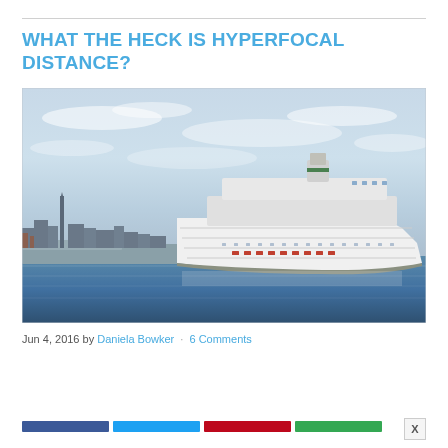WHAT THE HECK IS HYPERFOCAL DISTANCE?
[Figure (photo): A large white cruise ship sailing in a harbor with a city skyline (featuring a prominent tower) visible in the background on the left, under a partly cloudy sky. The water is blue-grey.]
Jun 4, 2016 by Daniela Bowker · 6 Comments